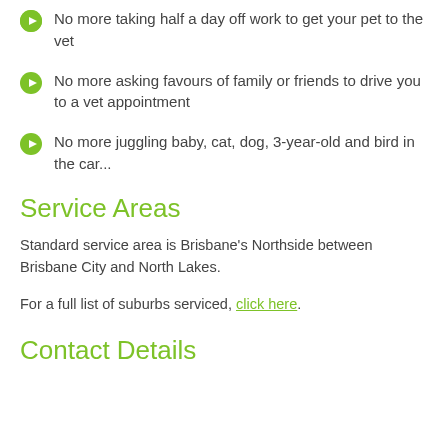No more taking half a day off work to get your pet to the vet
No more asking favours of family or friends to drive you to a vet appointment
No more juggling baby, cat, dog, 3-year-old and bird in the car...
Service Areas
Standard service area is Brisbane's Northside between Brisbane City and North Lakes.
For a full list of suburbs serviced, click here.
Contact Details